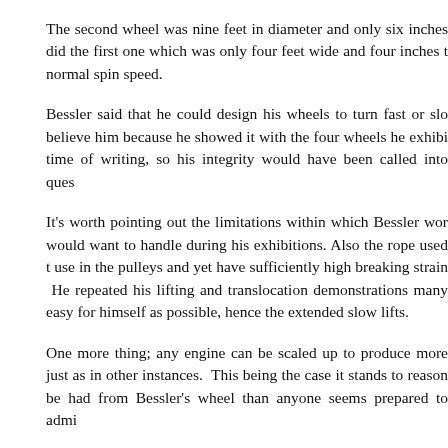The second wheel was nine feet in diameter and only six inches did the first one which was only four feet wide and four inches t normal spin speed.
Bessler said that he could design his wheels to turn fast or slo believe him because he showed it with the four wheels he exhibi time of writing, so his integrity would have been called into ques
It's worth pointing out the limitations within which Bessler wor would want to handle during his exhibitions. Also the rope used use in the pulleys and yet have sufficiently high breaking strain He repeated his lifting and translocation demonstrations many easy for himself as possible, hence the extended slow lifts.
One more thing; any engine can be scaled up to produce more just as in other instances.  This being the case it stands to reason be had from Bessler's wheel than anyone seems prepared to admi
JC